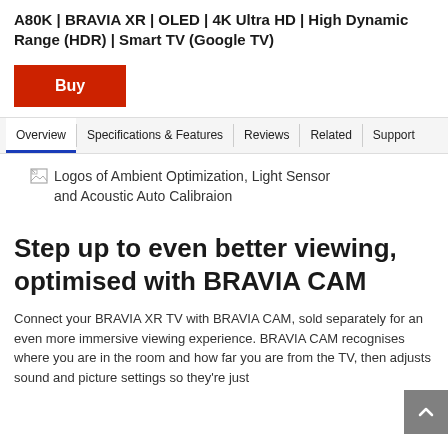A80K | BRAVIA XR | OLED | 4K Ultra HD | High Dynamic Range (HDR) | Smart TV (Google TV)
Buy
Overview
Specifications & Features
Reviews
Related
Support
[Figure (illustration): Broken image placeholder with alt text: Logos of Ambient Optimization, Light Sensor and Acoustic Auto Calibraion]
Step up to even better viewing, optimised with BRAVIA CAM
Connect your BRAVIA XR TV with BRAVIA CAM, sold separately for an even more immersive viewing experience. BRAVIA CAM recognises where you are in the room and how far you are from the TV, then adjusts sound and picture settings so they're just